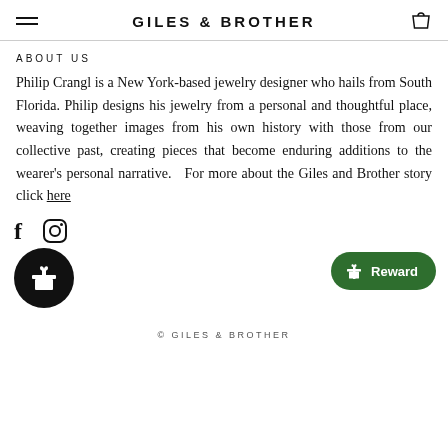GILES & BROTHER
ABOUT US
Philip Crangl is a New York-based jewelry designer who hails from South Florida. Philip designs his jewelry from a personal and thoughtful place, weaving together images from his own history with those from our collective past, creating pieces that become enduring additions to the wearer's personal narrative.   For more about the Giles and Brother story click here
[Figure (logo): Social media icons: Facebook (f) and Instagram (camera icon)]
[Figure (logo): Black circular gift/reward icon and green Reward button]
© GILES & BROTHER